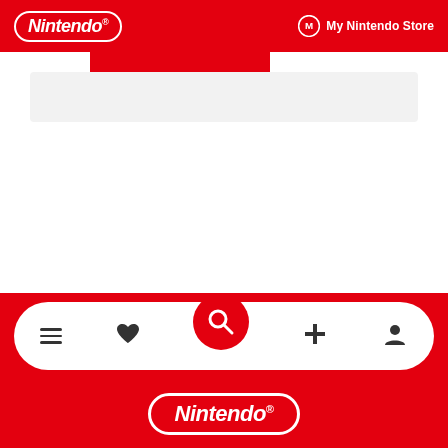Nintendo® | My Nintendo Store
[Figure (screenshot): Red Nintendo website header bar with Nintendo logo on left and My Nintendo Store icon/text on right. Below header a red tab and a light gray content area.]
Uma assinatura do Nintendo Switch Online (vendida separadamente) é necessária para a funcionalidade de cópia de segurança na nuvem.
© 2022 RETSUZAN Published by Gotcha Gotcha Games
[Figure (screenshot): Nintendo website bottom navigation bar with menu, heart/wishlist, search (red circle), game controller/download, and profile icons. Below that the Nintendo logo in red with white oval border on red background.]